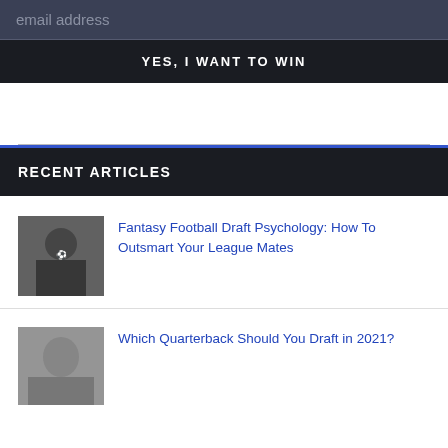email address
YES, I WANT TO WIN
RECENT ARTICLES
[Figure (photo): Black and white photo of a football player]
Fantasy Football Draft Psychology: How To Outsmart Your League Mates
[Figure (photo): Photo of a person wearing a hat]
Which Quarterback Should You Draft in 2021?